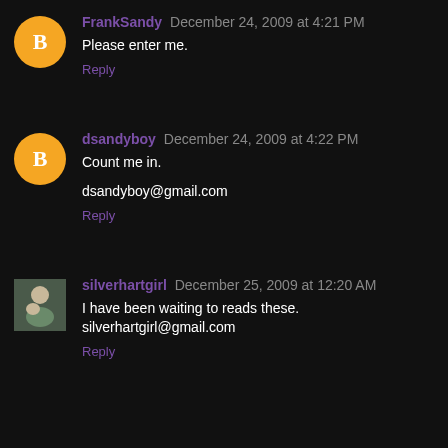FrankSandy December 24, 2009 at 4:21 PM
Please enter me.
Reply
dsandyboy December 24, 2009 at 4:22 PM
Count me in.
dsandyboy@gmail.com
Reply
silverhartgirl December 25, 2009 at 12:20 AM
I have been waiting to reads these. silverhartgirl@gmail.com
Reply